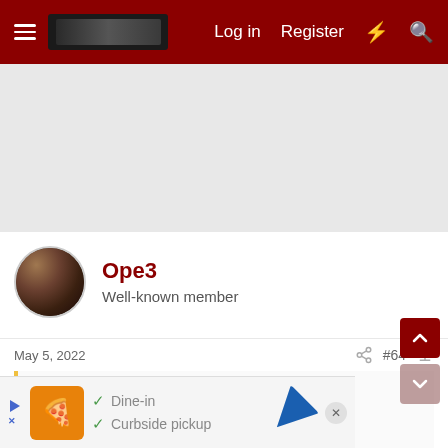Log in  Register
[Figure (screenshot): Gray advertisement placeholder area]
Ope3
Well-known member
May 5, 2022  #64
Iceland12 said: A Timberwolves player-by-player look ahead
[Figure (infographic): Ad banner at bottom: Dine-in, Curbside pickup options with orange logo and blue navigation icon]